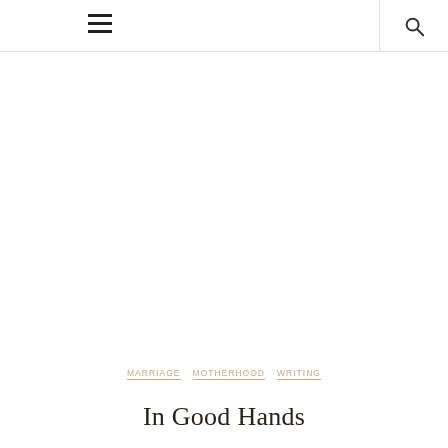☰  🔍
MARRIAGE  MOTHERHOOD  WRITING
In Good Hands